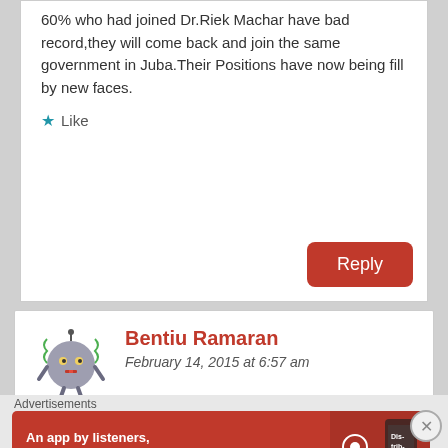60% who had joined Dr.Riek Machar have bad record,they will come back and join the same government in Juba.Their Positions have now being fill by new faces.
Like
Reply
Bentiu Ramaran
February 14, 2015 at 6:57 am
Dear Colonel Paulino Zangil:
Advertisements
[Figure (screenshot): Pocket Casts advertisement banner — red background, text 'An app by listeners, for listeners.' with phone image and Pocket Casts logo]